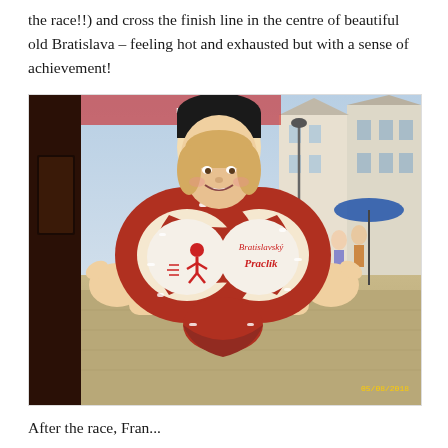the race!!) and cross the finish line in the centre of beautiful old Bratislava – feeling hot and exhausted but with a sense of achievement!
[Figure (photo): A woman's face poking through a cardboard cutout of a pretzel mascot character ('Bratislavský Praclík') on a street in Bratislava. The pretzel is large, red-brown, with white salt spots and a cartoon character holding it. Buildings and a blue umbrella are visible in the background. Date stamp: 05/08/2018.]
After the race, Fran...